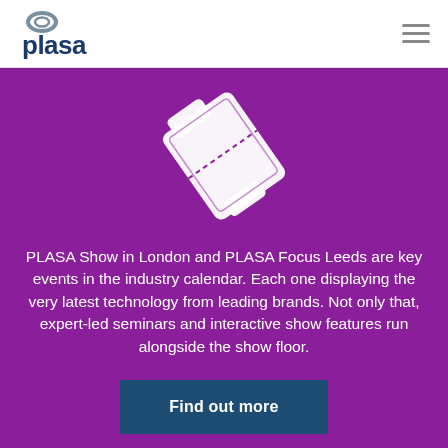[Figure (logo): PLASA logo with ring/oval icon above the word plasa in dark blue text]
[Figure (illustration): White ticket/admission stub icon rotated diagonally on purple background]
PLASA Show in London and PLASA Focus Leeds are key events in the industry calendar. Each one displaying the very latest technology from leading brands. Not only that, expert-led seminars and interactive show features run alongside the show floor.
Find out more